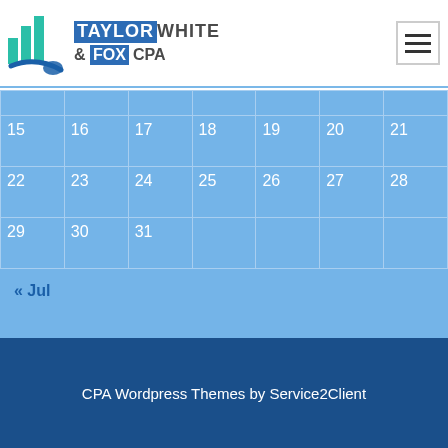Taylor White & Fox CPA
| 15 | 16 | 17 | 18 | 19 | 20 | 21 |
| 22 | 23 | 24 | 25 | 26 | 27 | 28 |
| 29 | 30 | 31 |  |  |  |  |
« Jul
CPA Wordpress Themes by Service2Client